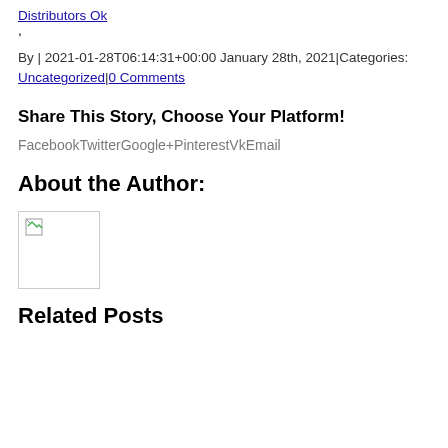Distributors Ok,
By | 2021-01-28T06:14:31+00:00 January 28th, 2021|Categories: Uncategorized|0 Comments
Share This Story, Choose Your Platform!
FacebookTwitterGoogle+PinterestVkEmail
About the Author:
[Figure (photo): Broken/missing author image placeholder with small icon in top-left corner]
Related Posts